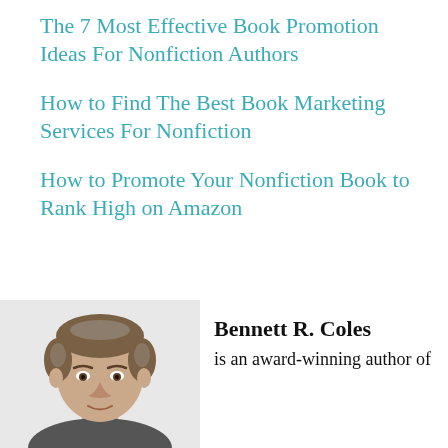The 7 Most Effective Book Promotion Ideas For Nonfiction Authors
How to Find The Best Book Marketing Services For Nonfiction
How to Promote Your Nonfiction Book to Rank High on Amazon
[Figure (photo): Headshot of a man with short brown hair, looking forward]
Bennett R. Coles is an award-winning author of